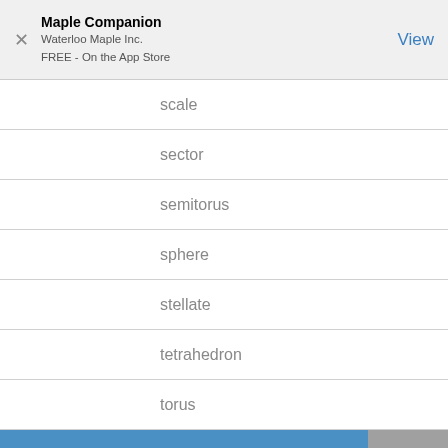[Figure (screenshot): App Store banner for Maple Companion by Waterloo Maple Inc., FREE on the App Store, with a View button and close X button]
scale
sector
semitorus
sphere
stellate
tetrahedron
torus
transform
translate